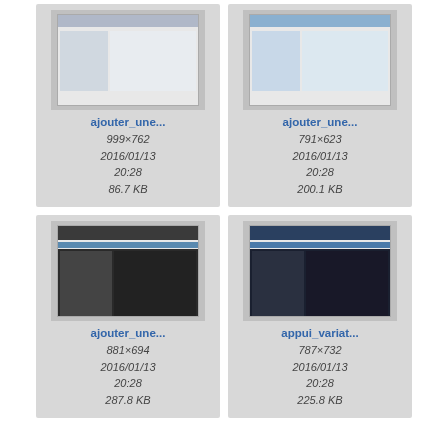[Figure (screenshot): Thumbnail of ajouter_une screenshot, light gray UI]
[Figure (screenshot): Thumbnail of ajouter_une screenshot, blue-tinted UI]
[Figure (screenshot): Thumbnail of ajouter_une screenshot, dark UI with toolbar]
[Figure (screenshot): Thumbnail of appui_variat screenshot, dark UI]